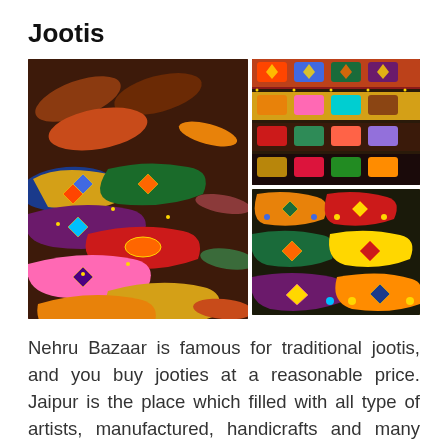Jootis
[Figure (photo): Collage of colorful traditional Indian jootis (shoes) displayed in a market. Left: large photo of multiple embroidered jootis in vibrant colors. Top right: photo of jootis arranged in rows. Bottom right: photo of brightly colored jootis with decorative embroidery.]
Nehru Bazaar is famous for traditional jootis, and you buy jooties at a reasonable price. Jaipur is the place which filled with all type of artists, manufactured, handicrafts and many more. Here, you can buy everything and the markets of Jaipur famous all over the world. The jootis of Jaipur is known as the name "Jaipuri jooti"